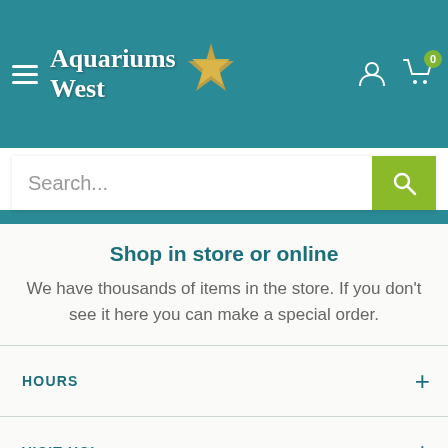[Figure (logo): Aquariums West logo with starfish icon on teal header background, hamburger menu icon on left, user and cart icons on right with badge showing 0]
[Figure (screenshot): Search bar with placeholder text 'Search...' and green search button]
Shop in store or online
We have thousands of items in the store.  If you don't see it here you can make a special order.
HOURS
VISIT US!
LEARN MORE ABOUT US!